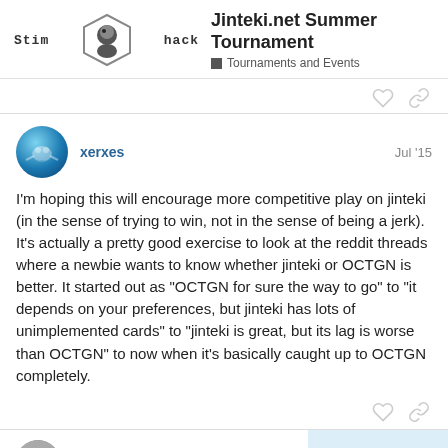Jinteki.net Summer Tournament — Tournaments and Events
xerxes  Jul '15
I'm hoping this will encourage more competitive play on jinteki (in the sense of trying to win, not in the sense of being a jerk). It's actually a pretty good exercise to look at the reddit threads where a newbie wants to know whether jinteki or OCTGN is better. It started out as "OCTGN for sure the way to go" to "it depends on your preferences, but jinteki has lots of unimplemented cards" to "jinteki is great, but its lag is worse than OCTGN" to now when it's basically caught up to OCTGN completely.
linuxmaier
12 / 22